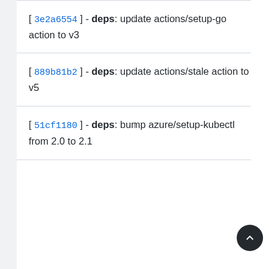[ 3e2a6554 ] - deps: update actions/setup-go action to v3
[ 889b81b2 ] - deps: update actions/stale action to v5
[ 51cf1180 ] - deps: bump azure/setup-kubectl from 2.0 to 2.1